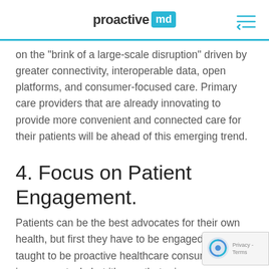proactive md
on the "brink of a large-scale disruption" driven by greater connectivity, interoperable data, open platforms, and consumer-focused care. Primary care providers that are already innovating to provide more convenient and connected care for their patients will be ahead of this emerging trend.
4. Focus on Patient Engagement.
Patients can be the best advocates for their own health, but first they have to be engaged and taught to be proactive healthcare consumers. This is no easy task, but it's one that primary care providers are particularly well-prepared to undertake. Pri…